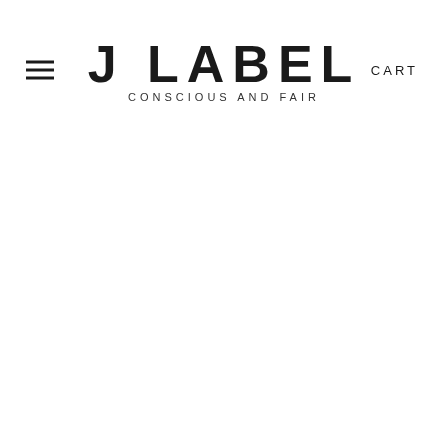≡  J LABEL CONSCIOUS AND FAIR  CART